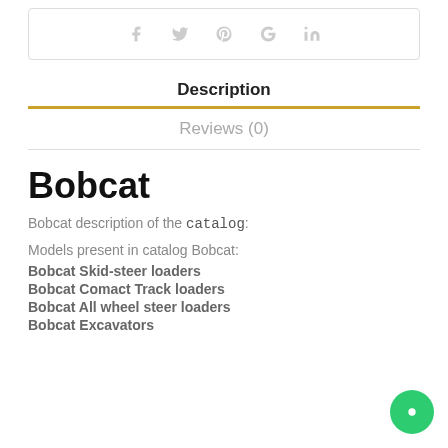[Figure (other): Social share icons box: facebook, twitter, pinterest, google+, linkedin icons in a bordered box]
Description
Reviews (0)
Bobcat
Bobcat description of the catalog:
Models present in catalog Bobcat:
Bobcat Skid-steer loaders
Bobcat Comact Track loaders
Bobcat All wheel steer loaders
Bobcat Excavators